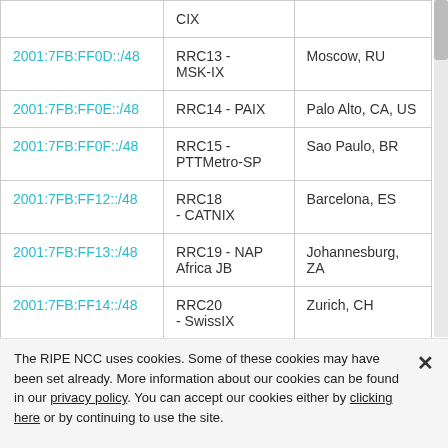| Address | Name | Location |
| --- | --- | --- |
|  | CIX |  |
| 2001:7FB:FF0D::/48 | RRC13 - MSK-IX | Moscow, RU |
| 2001:7FB:FF0E::/48 | RRC14 - PAIX | Palo Alto, CA, US |
| 2001:7FB:FF0F::/48 | RRC15 - PTTMetro-SP | Sao Paulo, BR |
| 2001:7FB:FF12::/48 | RRC18 - CATNIX | Barcelona, ES |
| 2001:7FB:FF13::/48 | RRC19 - NAP Africa JB | Johannesburg, ZA |
| 2001:7FB:FF14::/48 | RRC20 - SwissIX | Zurich, CH |
The RIPE NCC uses cookies. Some of these cookies may have been set already. More information about our cookies can be found in our privacy policy. You can accept our cookies either by clicking here or by continuing to use the site.